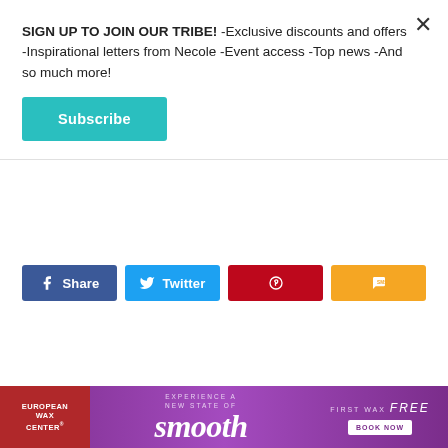SIGN UP TO JOIN OUR TRIBE! -Exclusive discounts and offers -Inspirational letters from Necole -Event access -Top news -And so much more!
Subscribe
Share
Twitter
×
CIARA
Ciara Continues To Diversify Her Brand After
[Figure (other): European Wax Center advertisement banner - Experience a new state of smooth - First wax free - Book Now]